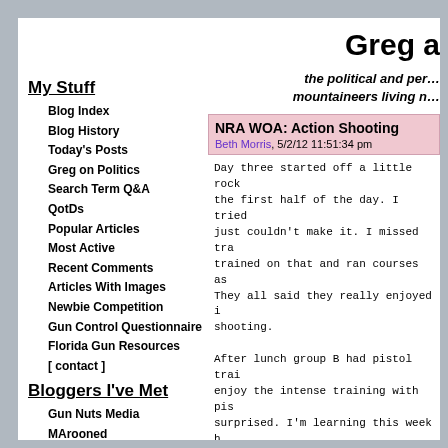My Stuff
Blog Index
Blog History
Today's Posts
Greg on Politics
Search Term Q&A
QotDs
Popular Articles
Most Active
Recent Comments
Articles With Images
Newbie Competition
Gun Control Questionnaire
Florida Gun Resources
[ contact ]
Bloggers I've Met
Gun Nuts Media
MArooned
McThag
Robb "No Pants" Allen
Say Uncle
The Big Guy
Greg a
the political and per... mountaineers living n...
NRA WOA: Action Shooting
Beth Morris, 5/2/12 11:51:34 pm
Day three started off a little rock the first half of the day. I tried just couldn't make it. I missed tra trained on that and ran courses as They all said they really enjoyed i shooting.
After lunch group B had pistol trai enjoy the intense training with pis surprised. I'm learning this week h so much. Instructor Debbie Keehart incorrect grip and showing me how t were shooting M&P 9mms. I really li
[Figure (photo): Photo of person lying prone outdoors, appears to be at a shooting range or outdoor activity, wearing orange vest.]